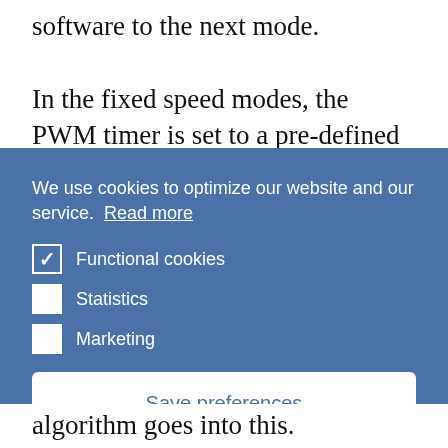software to the next mode.
In the fixed speed modes, the PWM timer is set to a pre-defined value and never changed, unless the user presses the mode button to
We use cookies to optimize our website and our service.  Read more
✓ Functional cookies
☐ Statistics
☐ Marketing
Save preferences
algorithm goes into this.